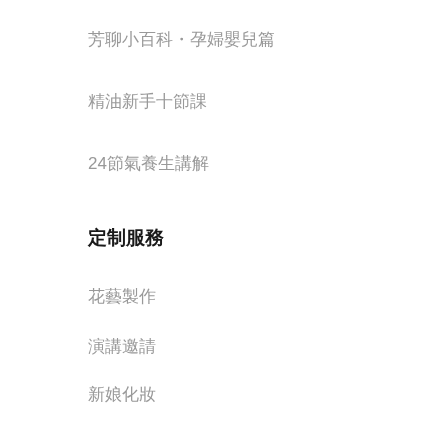芳聊小百科・孕婦嬰兒篇
精油新手十節課
24節氣養生講解
定制服務
花藝製作
演講邀請
新娘化妝
日常保健
日常保健套裝